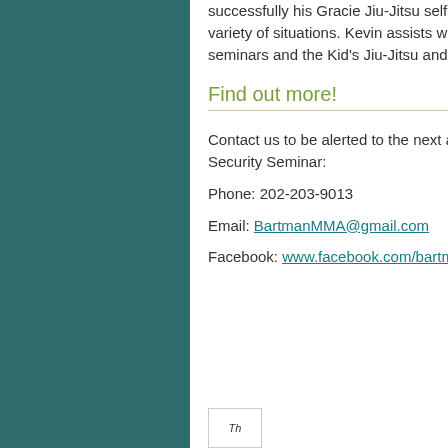successfully his Gracie Jiu-Jitsu self-defense skills in a variety of situations. Kevin assists with Doorman Security seminars and the Kid's Jiu-Jitsu and Self-Defense class.
Find out more!
Contact us to be alerted to the next available Doorman Security Seminar:
Phone: 202-203-9013
Email: BartmanMMA@gmail.com
Facebook: www.facebook.com/bartma